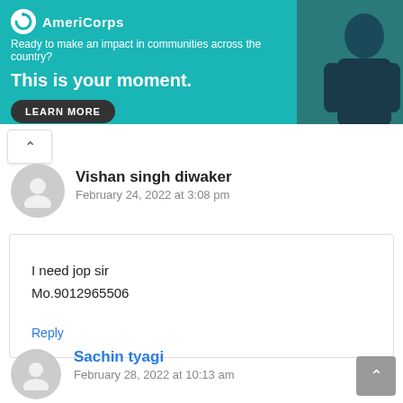[Figure (screenshot): AmeriCorps advertisement banner with teal background. Logo and text: 'Ready to make an impact in communities across the country? This is your moment.' with a LEARN MORE button. Right side shows a partial photo of a person.]
Vishan singh diwaker
February 24, 2022 at 3:08 pm
I need jop sir
Mo.9012965506
Reply
Sachin tyagi
February 28, 2022 at 10:13 am